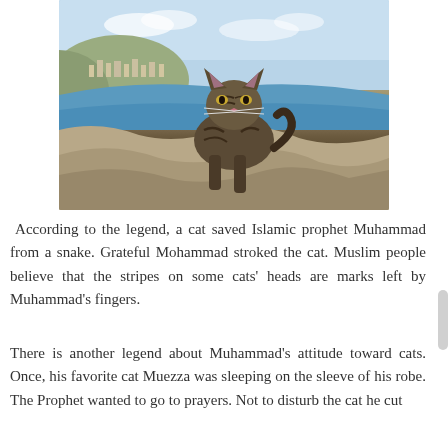[Figure (photo): A tabby cat standing on rocks with a Mediterranean coastal city and blue water in the background, viewed from a high vantage point.]
According to the legend, a cat saved Islamic prophet Muhammad from a snake. Grateful Mohammad stroked the cat. Muslim people believe that the stripes on some cats' heads are marks left by Muhammad's fingers.
There is another legend about Muhammad's attitude toward cats. Once, his favorite cat Muezza was sleeping on the sleeve of his robe. The Prophet wanted to go to prayers. Not to disturb the cat he cut off the sleeve without waking up the...